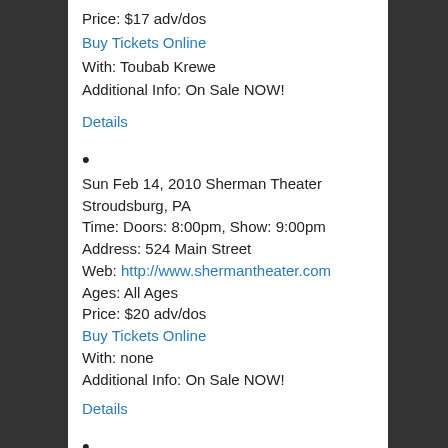Price: $17 adv/dos
Buy Tickets Online
With: Toubab Krewe
Additional Info: On Sale NOW!
Details
Sun Feb 14, 2010 Sherman Theater Stroudsburg, PA
Time: Doors: 8:00pm, Show: 9:00pm
Address: 524 Main Street
Web: http://www.shermantheater.com
Ages: All Ages
Price: $20 adv/dos
Buy Tickets Online
With: none
Additional Info: On Sale NOW!
Details
•